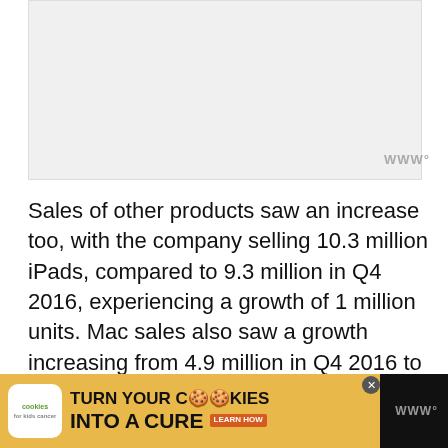[Figure (other): Placeholder image area, light grey background]
Sales of other products saw an increase too, with the company selling 10.3 million iPads, compared to 9.3 million in Q4 2016, experiencing a growth of 1 million units. Mac sales also saw a growth increasing from 4.9 million in Q4 2016 to 5.4 million units sold in Q4 2017.
[Figure (other): Advertisement banner: cookies for kids cancer - turn your cookies into a cure learn how]